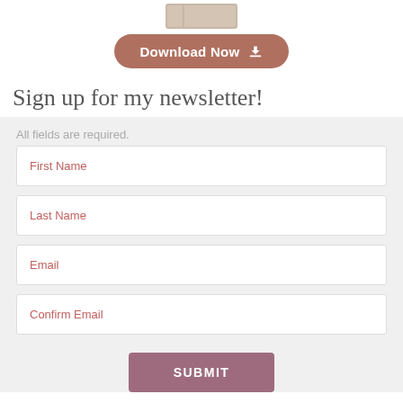[Figure (other): Partial book cover image cropped at top]
[Figure (other): Download Now button with download icon, brown/terracotta rounded rectangle]
Sign up for my newsletter!
All fields are required.
First Name
Last Name
Email
Confirm Email
SUBMIT